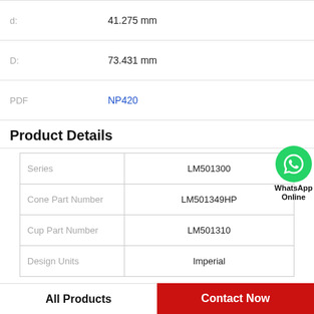| Label | Value |
| --- | --- |
| d: | 41.275 mm |
| D: | 73.431 mm |
| PDF | NP420 |
Product Details
| Property | Value |
| --- | --- |
| Series | LM501300 |
| Cone Part Number | LM501349HP |
| Cup Part Number | LM501310 |
| Design Units | Imperial |
All Products
Contact Now